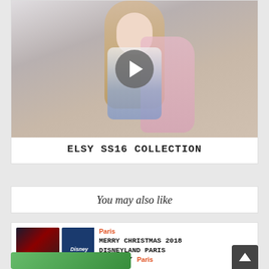[Figure (photo): Young blonde girl sitting, wearing a pink cardigan, white top, and denim skirt, against a light grey background. A circular play button is overlaid in the center.]
ELSY SS16 COLLECTION
You may also like
[Figure (photo): Thumbnail images: a dark performance/Santa show photo with a header reading 'Les Enfants à Paris', and a blue Disneyland card]
Paris
MERRY CHRISTMAS 2018 DISNEYLAND PARIS GIVEAWAY
Paris